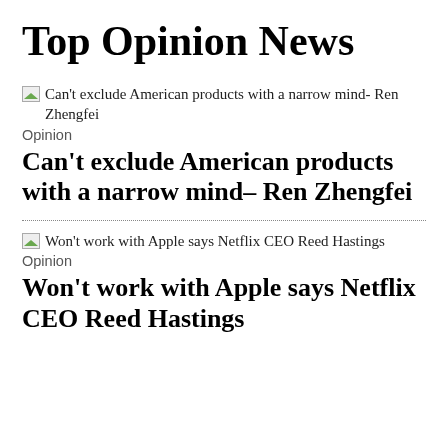Top Opinion News
[Figure (other): Broken image thumbnail for article: Can't exclude American products with a narrow mind- Ren Zhengfei]
Can't exclude American products with a narrow mind- Ren Zhengfei
Opinion
Can't exclude American products with a narrow mind- Ren Zhengfei
[Figure (other): Broken image thumbnail for article: Won't work with Apple says Netflix CEO Reed Hastings]
Won't work with Apple says Netflix CEO Reed Hastings
Opinion
Won't work with Apple says Netflix CEO Reed Hastings